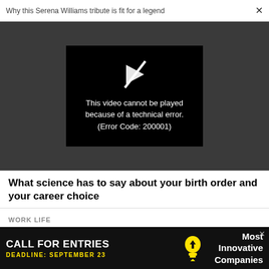Why this Serena Williams tribute is fit for a legend  ×
[Figure (screenshot): Video player showing error: This video cannot be played because of a technical error. (Error Code: 200001)]
What science has to say about your birth order and your career choice
WORK LIFE
Why it's often better to take small steps rather than a leap of faith
[Figure (infographic): Advertisement banner: CALL FOR ENTRIES, DEADLINE: SEPTEMBER 23, Most Innovative Companies]